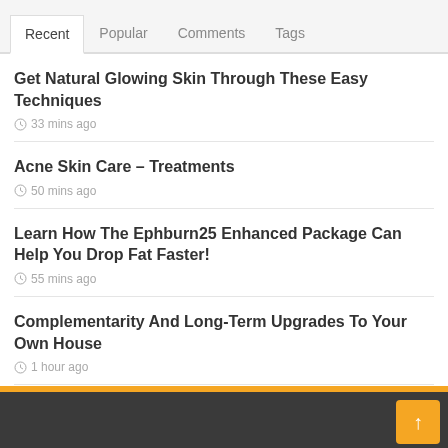Recent | Popular | Comments | Tags
Get Natural Glowing Skin Through These Easy Techniques
33 mins ago
Acne Skin Care – Treatments
50 mins ago
Learn How The Ephburn25 Enhanced Package Can Help You Drop Fat Faster!
55 mins ago
Complementarity And Long-Term Upgrades To Your Own House
1 hour ago
How Burn Off Fat- Doctors' Proven Weight Reduction Secret #1
3 hours ago